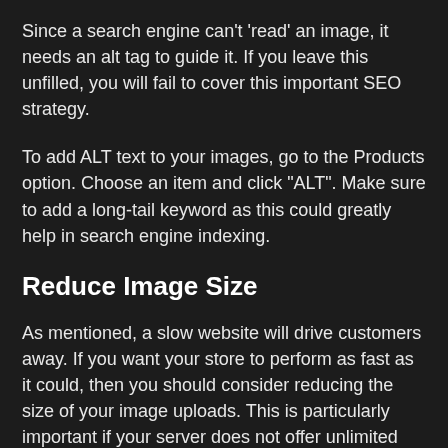Since a search engine can't 'read' an image, it needs an alt tag to guide it. If you leave this unfilled, you will fail to cover this important SEO strategy.
To add ALT text to your images, go to the Products option. Choose an item and click "ALT". Make sure to add a long-tail keyword as this could greatly help in search engine indexing.
Reduce Image Size
As mentioned, a slow website will drive customers away. If you want your store to perform as fast as it could, then you should consider reducing the size of your image uploads. This is particularly important if your server does not offer unlimited storage space.